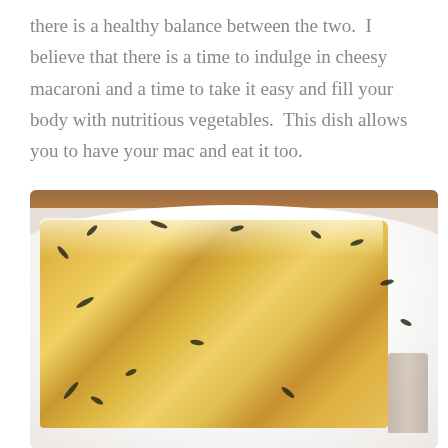there is a healthy balance between the two.  I believe that there is a time to indulge in cheesy macaroni and a time to take it easy and fill your body with nutritious vegetables.  This dish allows you to have your mac and eat it too.
[Figure (photo): A close-up photograph of a square serving of baked macaroni and cheese on a white plate, garnished with fresh thyme sprigs, with a fork visible at the bottom right. The mac and cheese has a golden, creamy appearance with visible pasta tubes coated in white cheese sauce.]